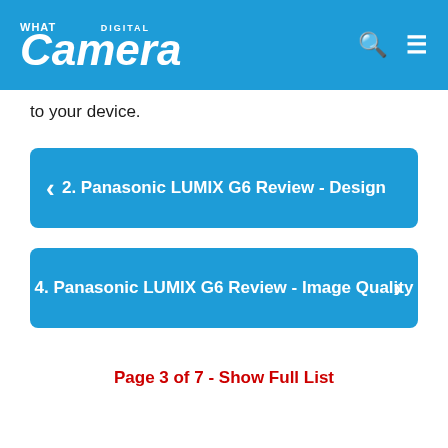What Digital Camera
to your device.
2. Panasonic LUMIX G6 Review - Design
4. Panasonic LUMIX G6 Review - Image Quality
Page 3 of 7 - Show Full List